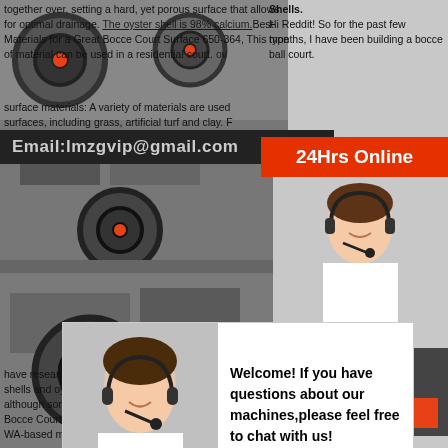[Figure (screenshot): Industrial machinery background image with wheels and equipment, partially visible]
together over, setting a hard, yet porous surface that allows for optimal drainage. The oyster shell is 98% calcium. Best Materials for a Great Bocce Court Surface 650-364, This type of material can be used in a residential court. over surface materials: A variety of materials are used for bocce court surfaces, including grass, artificial turf and clay. From what I have researched, I need to replace
Shells. Hi Reddit! So for the past few months, I have been building a bocce ball court.
Email:lmzgvip@gmail.com
24Hrs Online
[Figure (photo): Customer service representative woman with headset smiling, right side]
[Figure (photo): Customer service representative woman with headset smiling, chat popup left side]
Welcome! If you have questions about our machines,please feel free to chat with us!
Chat Now
Need questions & suggestion?
Chat Now
have researched, I need to use a blend of crushed oyster shells and oyster flour for the surface. It should be an inch thick although some people say 5/4" is fine. Boccemon Oyster Shell Bocce Court Surface Accessories. Boccemon is a Bellingham, WA-based manufacturer of premium oyster shell bocce court
Where to Buy Crushed Oyster Shell for Landscaping? Boccemon Oyster Shell Your Oct 29, 2020. Using an oyster shell as